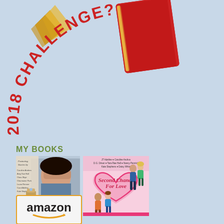[Figure (illustration): 2018 Reading Challenge badge with a red book graphic, golden star/wing motif, and arc text reading '2018 CHALLENGE?' on a light blue background]
MY BOOKS
[Figure (illustration): Book cover: 'Propose To Me' - romance anthology featuring a woman covering her eyes, with contributor author names listed]
[Figure (illustration): Book cover: 'Second Chance For Love' - romance anthology with cartoon couples and a pink heart, featuring authors JT Adeline, Caroline Andrus, D.G. Driver, Tara Rae Hall, Nancy Pennick, Kate Stephens, Daisy White]
[Figure (logo): Amazon logo button with orange arrow smile]